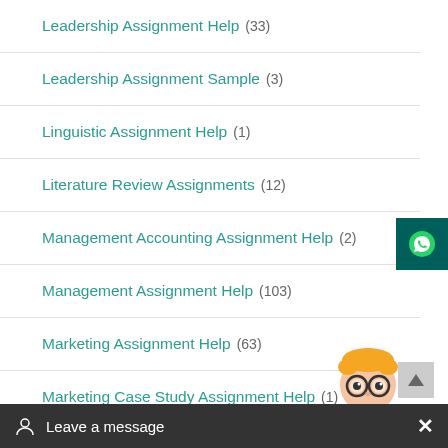Leadership Assignment Help (33)
Leadership Assignment Sample (3)
Linguistic Assignment Help (1)
Literature Review Assignments (12)
Management Accounting Assignment Help (2)
Management Assignment Help (103)
Marketing Assignment Help (63)
Marketing Case Study Assignment Help (1)
Marketing Management Assignment Help (26)
Marketing Strategy Assignment Help (1)
MGT 510 Strategic Management Assignment (?)
[Figure (illustration): Cartoon mascot of a student with glasses, bow tie, and jeans]
Leave a message